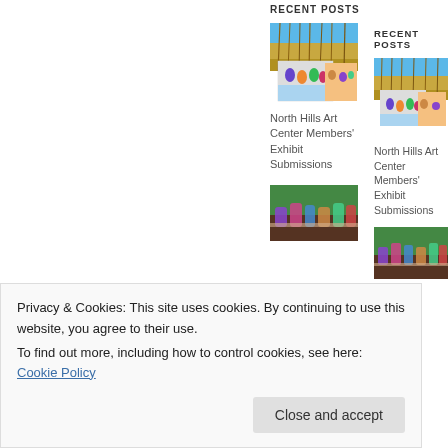RECENT POSTS
[Figure (photo): Two artwork images – landscape with reeds and a colorful figures painting collage]
North Hills Art Center Members' Exhibit Submissions
RECENT POSTS
[Figure (photo): Two artwork images – landscape with reeds and a colorful figures painting collage (second column)]
North Hills Art Center Members' Exhibit Submissions
[Figure (photo): Colorful lantern jars on a table]
[Figure (photo): Colorful lantern jars on a table (second column)]
Privacy & Cookies: This site uses cookies. By continuing to use this website, you agree to their use.
To find out more, including how to control cookies, see here: Cookie Policy
Close and accept